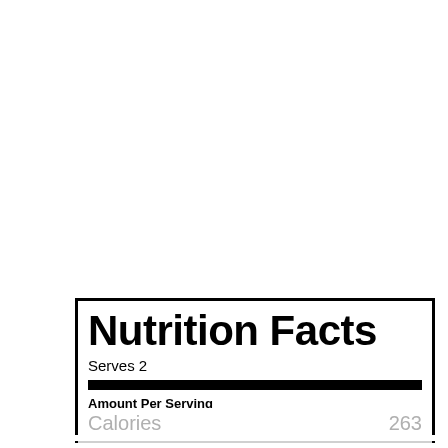Nutrition Facts
Serves 2
Amount Per Serving
Calories 263